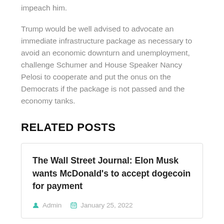impeach him.
Trump would be well advised to advocate an immediate infrastructure package as necessary to avoid an economic downturn and unemployment, challenge Schumer and House Speaker Nancy Pelosi to cooperate and put the onus on the Democrats if the package is not passed and the economy tanks.
RELATED POSTS
The Wall Street Journal: Elon Musk wants McDonald's to accept dogecoin for payment
Admin   January 25, 2022